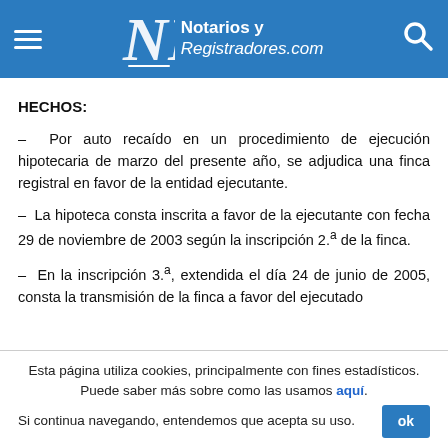Notarios y Registradores.com
HECHOS:
– Por auto recaído en un procedimiento de ejecución hipotecaria de marzo del presente año, se adjudica una finca registral en favor de la entidad ejecutante.
– La hipoteca consta inscrita a favor de la ejecutante con fecha 29 de noviembre de 2003 según la inscripción 2.ª de la finca.
– En la inscripción 3.ª, extendida el día 24 de junio de 2005, consta la transmisión de la finca a favor del ejecutado
Esta página utiliza cookies, principalmente con fines estadísticos. Puede saber más sobre como las usamos aquí. Si continua navegando, entendemos que acepta su uso.